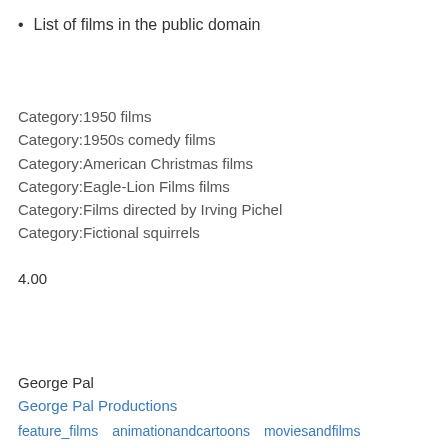List of films in the public domain
Category:1950 films
Category:1950s comedy films
Category:American Christmas films
Category:Eagle-Lion Films films
Category:Films directed by Irving Pichel
Category:Fictional squirrels
4.00
George Pal
George Pal Productions
feature_films   animationandcartoons   moviesandfilms